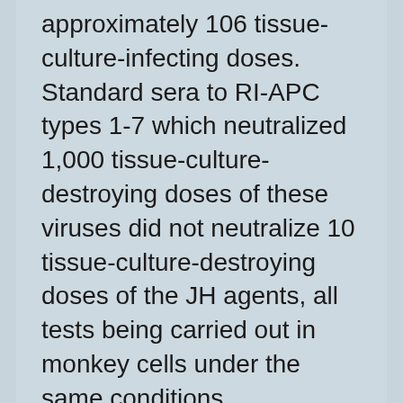approximately 106 tissue-culture-infecting doses. Standard sera to RI-APC types 1-7 which neutralized 1,000 tissue-culture-destroying doses of these viruses did not neutralize 10 tissue-culture-destroying doses of the JH agents, all tests being carried out in monkey cells under the same conditions.
The acute-convalescent sera of the individuals shown in Table 1 did not show any hemagglutination inhibition